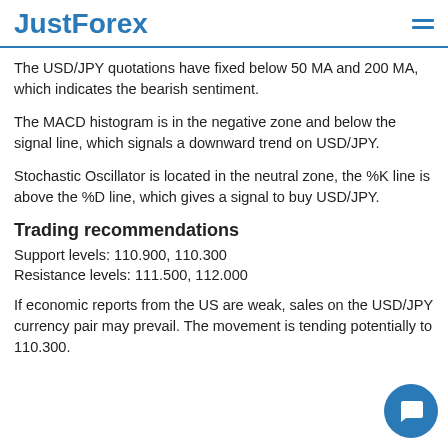JustForex
The USD/JPY quotations have fixed below 50 MA and 200 MA, which indicates the bearish sentiment.
The MACD histogram is in the negative zone and below the signal line, which signals a downward trend on USD/JPY.
Stochastic Oscillator is located in the neutral zone, the %K line is above the %D line, which gives a signal to buy USD/JPY.
Trading recommendations
Support levels: 110.900, 110.300
Resistance levels: 111.500, 112.000
If economic reports from the US are weak, sales on the USD/JPY currency pair may prevail. The movement is tending potentially to 110.300.